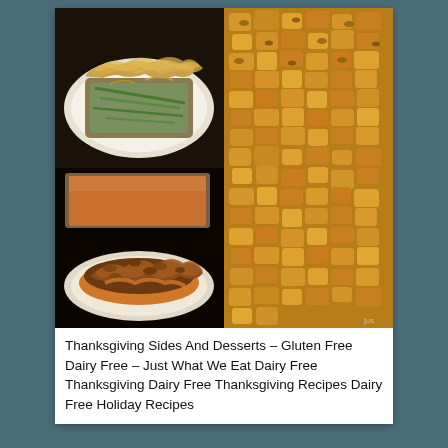[Figure (photo): A 2x2 collage of four Thanksgiving food photos: top-left shows green bean casserole with crispy onions on a white plate; top-right shows a large baking dish of bread stuffing; bottom-left shows sweet potato casserole with streusel topping on a plate; bottom-right shows a slice of pie with crumb topping on a white plate with a red napkin in background.]
Thanksgiving Sides And Desserts – Gluten Free Dairy Free – Just What We Eat Dairy Free Thanksgiving Dairy Free Thanksgiving Recipes Dairy Free Holiday Recipes